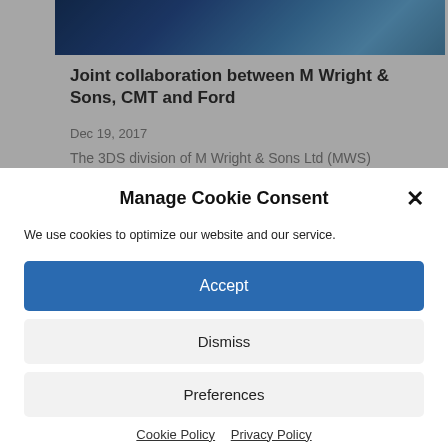[Figure (photo): Partial blue-toned keyboard photo at the top of the page]
Joint collaboration between M Wright & Sons, CMT and Ford
Dec 19, 2017
The 3DS division of M Wright & Sons Ltd (MWS)
Manage Cookie Consent
We use cookies to optimize our website and our service.
Accept
Dismiss
Preferences
Cookie Policy   Privacy Policy